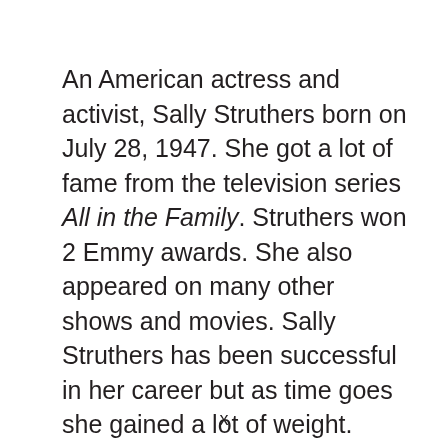An American actress and activist, Sally Struthers born on July 28, 1947. She got a lot of fame from the television series All in the Family. Struthers won 2 Emmy awards. She also appeared on many other shows and movies. Sally Struthers has been successful in her career but as time goes she gained a lot of weight. Many of Sally's fans criticise her for this.
x